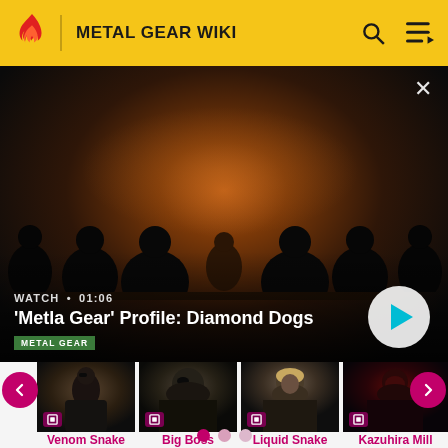METAL GEAR WIKI
[Figure (screenshot): Video thumbnail showing silhouettes of soldiers in a dark room with orange glowing background. Title card reads: WATCH · 01:06 / 'Metla Gear' Profile: Diamond Dogs / METAL GEAR. Play button visible at bottom right.]
[Figure (photo): Character card thumbnail: Venom Snake]
Venom Snake
[Figure (photo): Character card thumbnail: Big Boss]
Big Boss
[Figure (photo): Character card thumbnail: Liquid Snake]
Liquid Snake
[Figure (photo): Character card thumbnail: Kazuhira Mill]
Kazuhira Mill